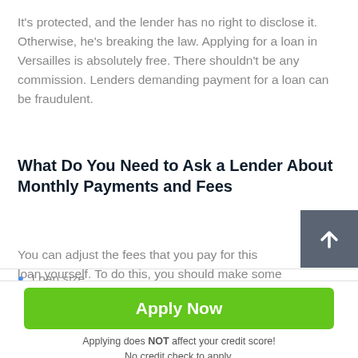It's protected, and the lender has no right to disclose it. Otherwise, he's breaking the law. Applying for a loan in Versailles is absolutely free. There shouldn't be any commission. Lenders demanding payment for a loan can be fraudulent.
What Do You Need to Ask a Lender About Monthly Payments and Fees
You can adjust the fees that you pay for this loan yourself. To do this, you should make some calculations. There are two factors that affect the commission rate:
Loan size
[Figure (other): Dark grey square button with white upward arrow icon]
Apply Now
Applying does NOT affect your credit score!
No credit check to apply.